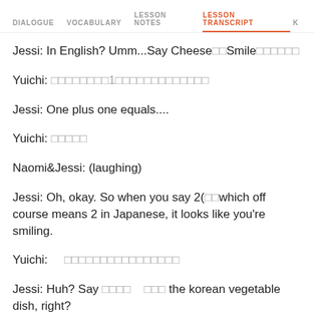DIALOGUE   VOCABULARY   LESSON NOTES   LESSON TRANSCRIPT   K
Jessi: In English? Umm...Say Cheese□Smile□□□□□□
Yuichi: □□□□□□□□1□□□□□□□□□□□□□
Jessi: One plus one equals....
Yuichi: □□□□□
Naomi&Jessi: (laughing)
Jessi: Oh, okay. So when you say 2(□□which off course means 2 in Japanese, it looks like you're smiling.
Yuichi:     □□□□□□□□□□□□□□□□
Jessi: Huh? Say □□□□    □□□ the korean vegetable dish, right?